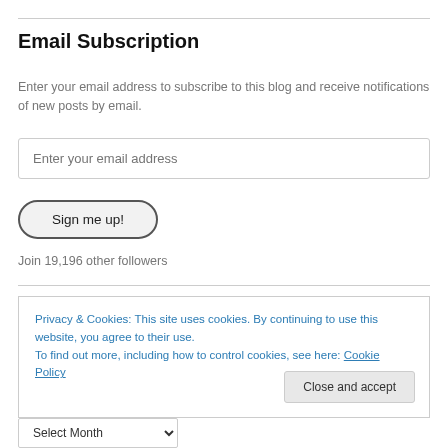Email Subscription
Enter your email address to subscribe to this blog and receive notifications of new posts by email.
Enter your email address
Sign me up!
Join 19,196 other followers
Privacy & Cookies: This site uses cookies. By continuing to use this website, you agree to their use.
To find out more, including how to control cookies, see here: Cookie Policy
Close and accept
Select Month